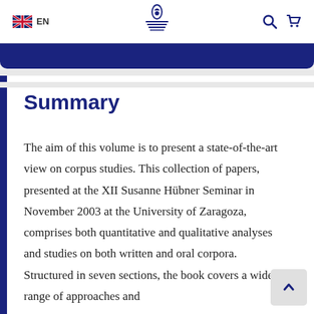EN
Summary
The aim of this volume is to present a state-of-the-art view on corpus studies. This collection of papers, presented at the XII Susanne Hübner Seminar in November 2003 at the University of Zaragoza, comprises both quantitative and qualitative analyses and studies on both written and oral corpora. Structured in seven sections, the book covers a wide range of approaches and